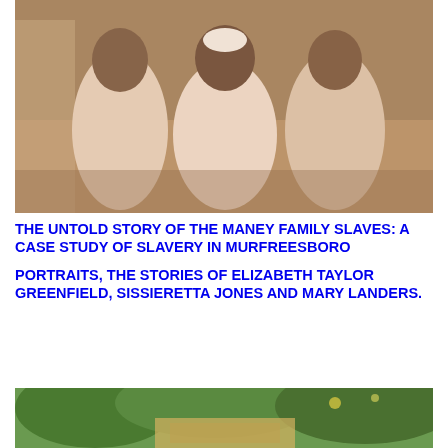[Figure (photo): Vintage sepia-toned photograph of three women standing outdoors, wearing light-colored dresses. Trees and a building visible in the background.]
THE UNTOLD STORY OF THE MANEY FAMILY SLAVES: A CASE STUDY OF SLAVERY IN MURFREESBORO
PORTRAITS, THE STORIES OF ELIZABETH TAYLOR GREENFIELD, SISSIERETTA JONES AND MARY LANDERS.
[Figure (photo): Partial photograph showing green trees and what appears to be a sign or structure below, cropped at the bottom of the page.]